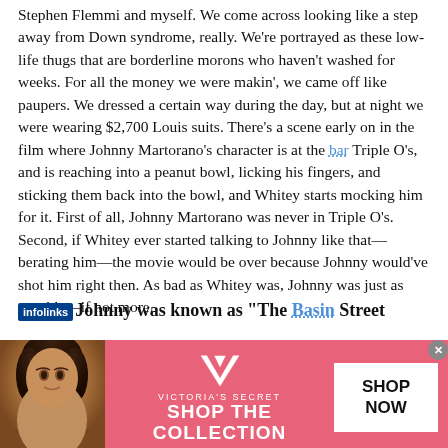Stephen Flemmi and myself. We come across looking like a step away from Down syndrome, really. We're portrayed as these low-life thugs that are borderline morons who haven't washed for weeks. For all the money we were makin', we came off like paupers. We dressed a certain way during the day, but at night we were wearing $2,700 Louis suits. There's a scene early on in the film where Johnny Martorano's character is at the bar Triple O's, and is reaching into a peanut bowl, licking his fingers, and sticking them back into the bowl, and Whitey starts mocking him for it. First of all, Johnny Martorano was never in Triple O's. Second, if Whitey ever started talking to Johnny like that—berating him—the movie would be over because Johnny would've shot him right then. As bad as Whitey was, Johnny was just as capable—if not more.
Johnny was known as "The Basin Street
[Figure (screenshot): Victoria's Secret advertisement banner with pink background, model photo on left, VS logo and 'SHOP THE COLLECTION' text in center, and 'SHOP NOW' button on right]